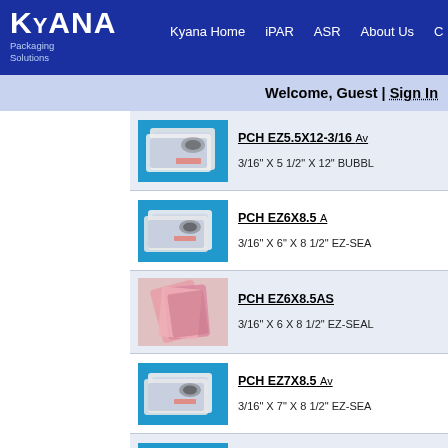Kyana Packaging Solutions — Kyana Home | iPAR | ASR | About Us
Welcome, Guest | Sign In
[Figure (photo): Product image: bubble mailer bags on blue background]
PCH EZ5.5X12-3/16  Av
3/16" X 5 1/2" X 12" BUBB...
[Figure (photo): Product image: EZ-seal bubble mailers on blue background]
PCH EZ6X8.5  A
3/16" X 6" X 8 1/2" EZ-SEA...
[Figure (photo): Product image: pink anti-static bubble mailers]
PCH EZ6X8.5AS
3/16" X 6 X 8 1/2" EZ-SEAL...
[Figure (photo): Product image: EZ-seal bubble mailers on blue background]
PCH EZ7X8.5  Av
3/16" X 7" X 8 1/2" EZ-SEA...
[Figure (photo): Product image: bubble mailer bags on blue background]
PCH EZ8X11.5  A
3/16" X 8" X 11 1/2" EZ-SEA...